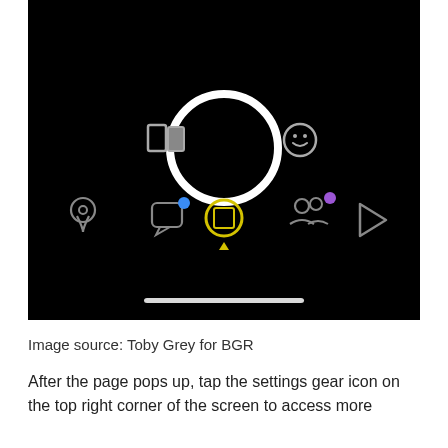[Figure (screenshot): A smartphone camera interface screenshot with a dark/black background. Shows a large white circle (shutter button) in the center-top area, with a dual-page/book icon to its left and a smiley face icon to its right. Bottom row shows five icons: location pin, chat bubble with blue dot, camera scan icon (yellow ring) with small triangle below, people icon with purple dot, and play button. A white home indicator bar is at the bottom.]
Image source: Toby Grey for BGR
After the page pops up, tap the settings gear icon on the top right corner of the screen to access more